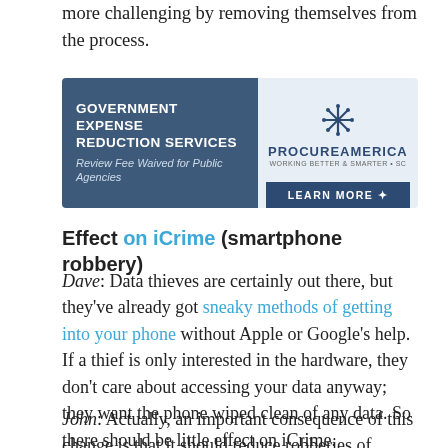more challenging by removing themselves from the process.
[Figure (other): Advertisement banner for ProcureAmerica Government Expense Reduction Services. Blue background on left with text: GOVERNMENT EXPENSE REDUCTION SERVICES, Review Fee Waived for Public Agencies. Right side shows ProcureAmerica logo with snowflake icon and LEARN MORE button.]
Effect on iCrime (smartphone robbery)
Dave: Data thieves are certainly out there, but they've already got sneaky methods of getting into your phone without Apple or Google's help. If a thief is only interested in the hardware, they don't care about accessing your data anyway; they want the phone wiped clean of any data. So there should be little effect on iCrime.
John: Actually, an important consequence of this change is that it should reduce robberies of mobile devices. This significantly changes the risk/reward